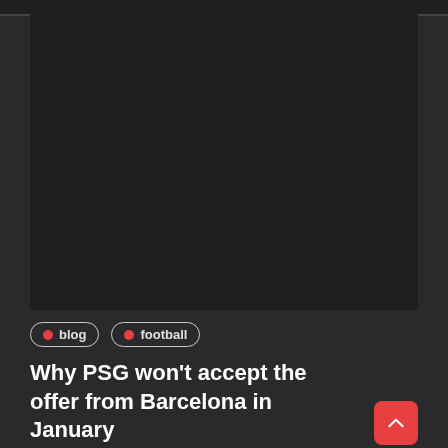[Figure (photo): Dark image area placeholder at the top of the article card]
blog
football
Why PSG won't accept the offer from Barcelona in January
Barcelona has already won the Champions League, the